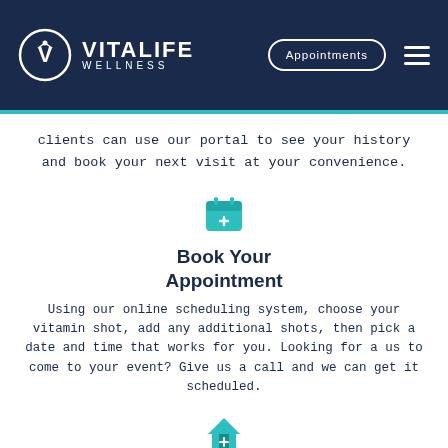[Figure (logo): VitaLife Wellness logo with navigation bar including Appointments button and hamburger menu on dark navy background]
clients can use our portal to see your history and book your next visit at your convenience.
[Figure (illustration): Teal medical calendar icon with plus sign]
Book Your Appointment
Using our online scheduling system, choose your vitamin shot, add any additional shots, then pick a date and time that works for you. Looking for a us to come to your event? Give us a call and we can get it scheduled.
[Figure (illustration): Teal house/clinic icon with medical cross]
Arrive at the Clinic
Arrive in comfortable clothing that allows for easy access to your glute and hip. It is recommended that new clients have